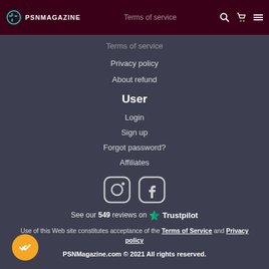PSNMAGAZINE — Terms of service | search | cart | menu
Terms of service
Privacy policy
About refund
User
Login
Sign up
Forgot password?
Affiliates
[Figure (logo): Instagram and Facebook social media icons]
See our 549 reviews on Trustpilot
Use of this Web site constitutes acceptance of the Terms of Service and Privacy policy
PSNMagazine.com © 2021 All rights reserved.